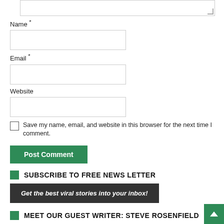Name *
Email *
Website
Save my name, email, and website in this browser for the next time I comment.
Post Comment
SUBSCRIBE TO FREE NEWS LETTER
Get the best viral stories into your inbox!
MEET OUR GUEST WRITER: STEVE ROSENFIELD